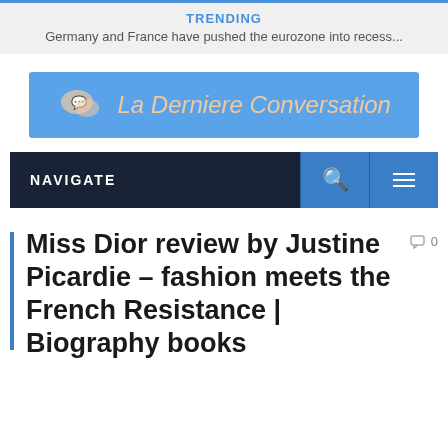TRENDING
Germany and France have pushed the eurozone into recess...
[Figure (logo): La Derniere Conversation logo with speech bubble icon on blue background]
NAVIGATE
Miss Dior review by Justine Picardie – fashion meets the French Resistance | Biography books